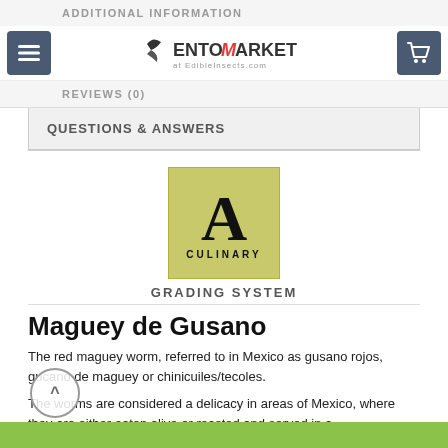ADDITIONAL INFORMATION
EntoMarket at EdibleInsects.com
REVIEWS (0)
QUESTIONS & ANSWERS
[Figure (logo): A Culinary grading system logo: yellow-green square with large serif letter A and word CULINARY below]
GRADING SYSTEM
Maguey de Gusano
The red maguey worm, referred to in Mexico as gusano rojos, gucano de maguey or chinicuiles/tecoles.
The worms are considered a delicacy in areas of Mexico, where they are either eaten alive or roasted and served in a